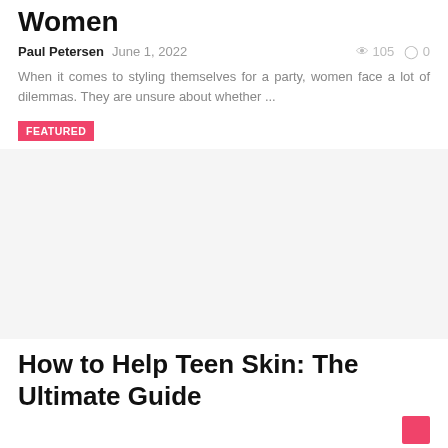Women
Paul Petersen   June 1, 2022   105   0
When it comes to styling themselves for a party, women face a lot of dilemmas. They are unsure about whether ...
FEATURED
[Figure (photo): Featured image placeholder (white/light gray area)]
How to Help Teen Skin: The Ultimate Guide